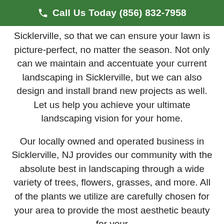Call Us Today (856) 832-7958
Sicklerville, so that we can ensure your lawn is picture-perfect, no matter the season. Not only can we maintain and accentuate your current landscaping in Sicklerville, but we can also design and install brand new projects as well. Let us help you achieve your ultimate landscaping vision for your home.
Our locally owned and operated business in Sicklerville, NJ provides our community with the absolute best in landscaping through a wide variety of trees, flowers, grasses, and more. All of the plants we utilize are carefully chosen for your area to provide the most aesthetic beauty for your